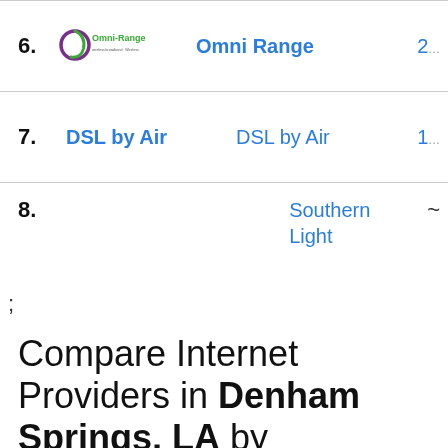6. Omni Range 2...
7. DSL by Air  DSL by Air 1...
8. Southern Light ~
;
Compare Internet Providers in Denham Springs, LA by Coverage Area